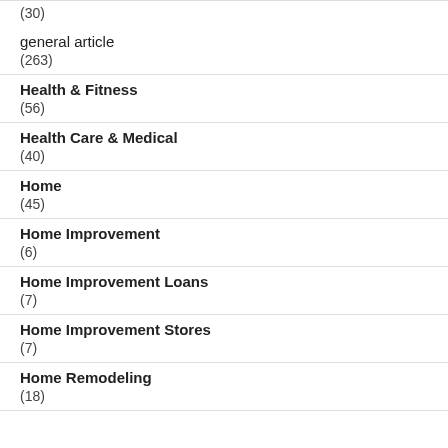(30)
general article
(263)
Health & Fitness
(56)
Health Care & Medical
(40)
Home
(45)
Home Improvement
(6)
Home Improvement Loans
(7)
Home Improvement Stores
(7)
Home Remodeling
(18)